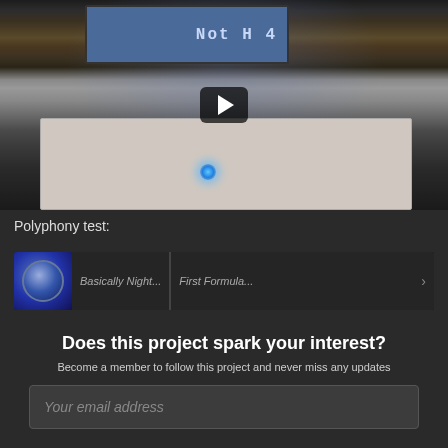[Figure (screenshot): Video thumbnail of Arduino/breadboard electronics project showing an LCD screen displaying 'Not H 4', colorful wires, buttons, and a glowing blue LED on a breadboard. A play button overlay is visible in the center.]
Polyphony test:
[Figure (screenshot): Partial view of a second video or content area showing a circular blue chip/component thumbnail on the left, followed by partially visible text labels (Basically Night... and First Formula...) on a dark background.]
Does this project spark your interest?
Become a member to follow this project and never miss any updates
Your email address